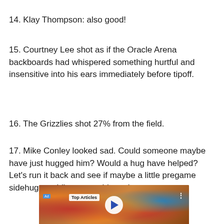14. Klay Thompson: also good!
15. Courtney Lee shot as if the Oracle Arena backboards had whispered something hurtful and insensitive into his ears immediately before tipoff.
16. The Grizzlies shot 27% from the field.
17. Mike Conley looked sad. Could someone maybe have just hugged him? Would a hug have helped? Let's run it back and see if maybe a little pregame sidehug would've gotten him going.
[Figure (screenshot): Video player thumbnail showing a crowd scene with orange and blue colors, a 'Top Articles' badge, an ad indicator, a three-dot menu icon, and a white circular play button with a blue triangle.]